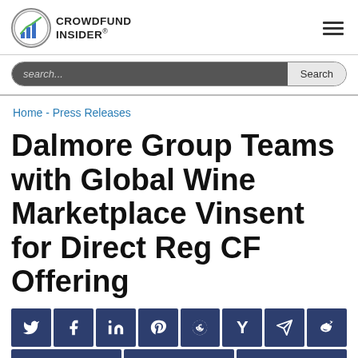CROWDFUND INSIDER®
search...  Search
Home - Press Releases
Dalmore Group Teams with Global Wine Marketplace Vinsent for Direct Reg CF Offering
[Figure (other): Social media sharing icons row: Twitter, Facebook, LinkedIn, Pinterest, Reddit, Hacker News, Telegram, Weibo; second row: email, print, email]